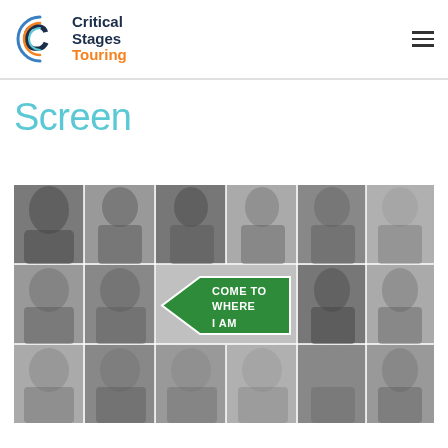Critical Stages Touring
Screen
[Figure (photo): Collage of black-and-white headshots of multiple people arranged in a grid, with a green road sign in the center reading 'COME TO WHERE I AM']